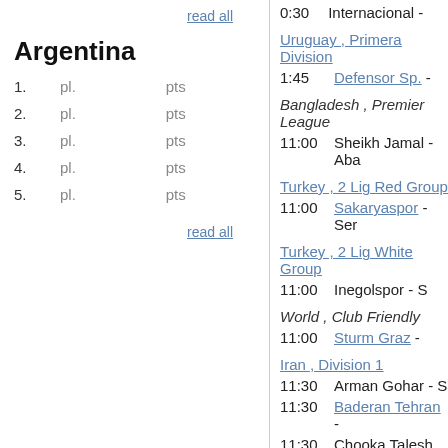read all
Argentina
| # | pl. | pts |
| --- | --- | --- |
| 1. | pl. | pts |
| 2. | pl. | pts |
| 3. | pl. | pts |
| 4. | pl. | pts |
| 5. | pl. | pts |
read all
0:30   Internacional -
Uruguay , Primera Division
1:45   Defensor Sp. -
Bangladesh , Premier League
11:00   Sheikh Jamal - Aba
Turkey , 2 Lig Red Group
11:00   Sakaryaspor - Ser
Turkey , 2 Lig White Group
11:00   Inegolspor - S
World , Club Friendly
11:00   Sturm Graz -
Iran , Division 1
11:30   Arman Gohar - S
11:30   Baderan Tehran -
11:30   Chooka Talesh